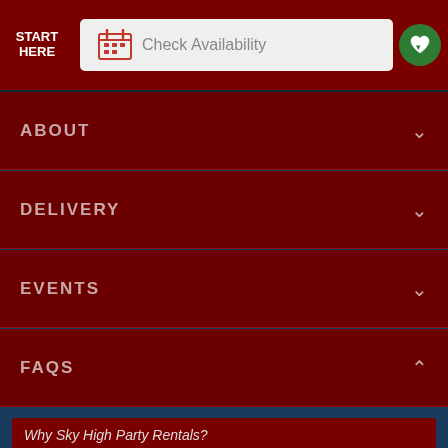START HERE  Check Availability
ABOUT
DELIVERY
EVENTS
FAQS
Why Sky High Party Rentals?
50,000+ Happy Customers
Award Winning Inflatables